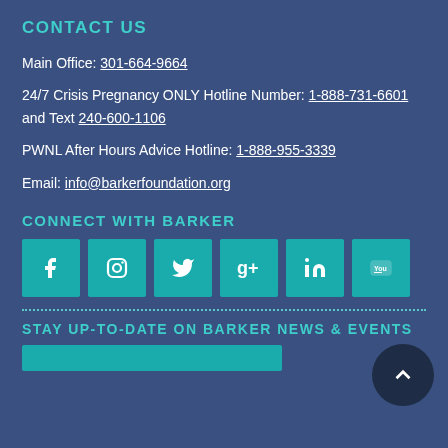CONTACT US
Main Office: 301-664-9664
24/7 Crisis Pregnancy ONLY Hotline Number: 1-888-731-6601 and Text 240-600-1106
PWNL After Hours Advice Hotline: 1-888-955-3339
Email: info@barkerfoundation.org
CONNECT WITH BARKER
[Figure (infographic): Six teal social media icon buttons: Facebook, Instagram, Twitter, Google+, LinkedIn, YouTube]
STAY UP-TO-DATE ON BARKER NEWS & EVENTS